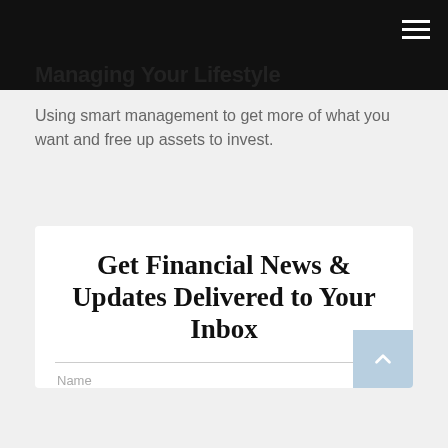Managing Your Lifestyle
Managing Your Lifestyle
Using smart management to get more of what you want and free up assets to invest.
Get Financial News & Updates Delivered to Your Inbox
Name